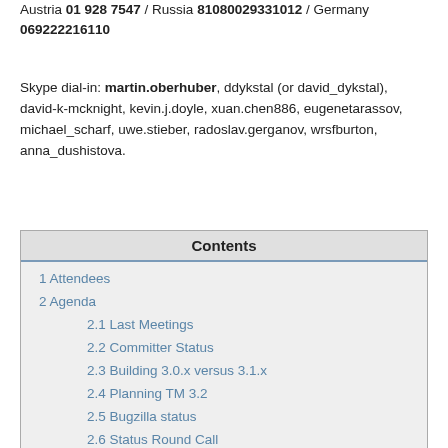Austria 01 928 7547 / Russia 81080029331012 / Germany 069222216110
Skype dial-in: martin.oberhuber, ddykstal (or david_dykstal), david-k-mcknight, kevin.j.doyle, xuan.chen886, eugenetarassov, michael_scharf, uwe.stieber, radoslav.gerganov, wrsfburton, anna_dushistova.
| Contents |
| --- |
| 1 Attendees |
| 2 Agenda |
| 2.1 Last Meetings |
| 2.2 Committer Status |
| 2.3 Building 3.0.x versus 3.1.x |
| 2.4 Planning TM 3.2 |
| 2.5 Bugzilla status |
| 2.6 Status Round Call |
| 2.7 Questions |
| 3 Vacations |
| 4 Action Items |
| 5 Next Meeting |